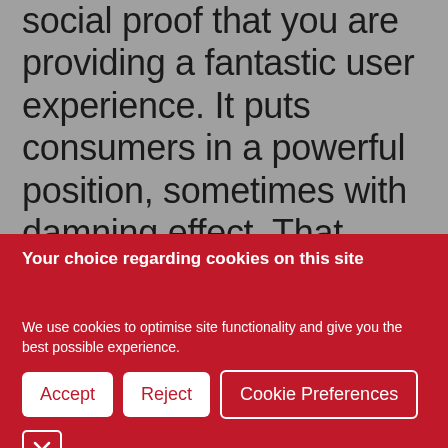social proof that you are providing a fantastic user experience. It puts consumers in a powerful position, sometimes with damning effect. That makes it even more important for organisations to continuously deliver a consistently high brand experience.
Your choice regarding cookies on this site
We use cookies to optimise site functionality and give you the best possible experience.
Accept
Reject
Cookie Preferences